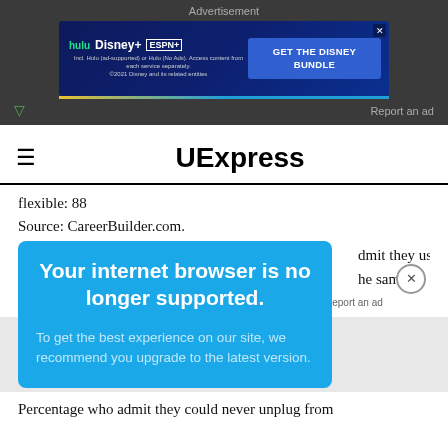Advertisement
[Figure (screenshot): Disney Bundle advertisement banner with Hulu, Disney+, ESPN+ logos and 'GET THE DISNEY BUNDLE' call to action button]
UExpress
flexible: 88
Source: CareerBuilder.com.
Your internet browser is no longer supported.
To get the best experience on our site, we recommend you upgrade to the latest version.
dmit they use
he same or
Percentage who admit they could never unplug from